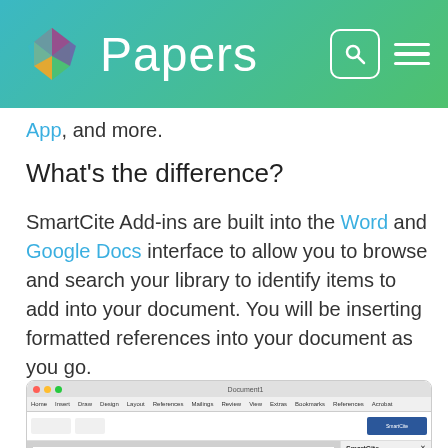Papers
App, and more.
What's the difference?
SmartCite Add-ins are built into the Word and Google Docs interface to allow you to browse and search your library to identify items to add into your document. You will be inserting formatted references into your document as you go.
[Figure (screenshot): Screenshot of Microsoft Word with the SmartCite panel open on the right side, showing REFERENCES, BIBLIOGRAPHY, and OPTIONS tabs, and a Search within My Library field.]